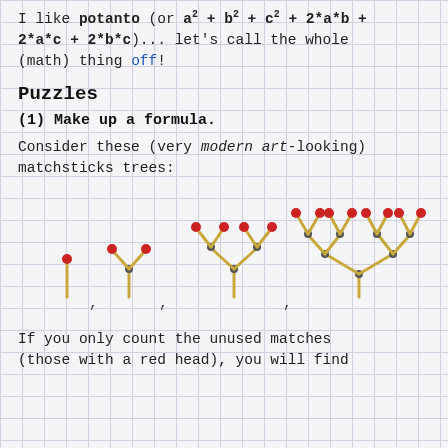I like potanto (or a² + b² + c² + 2*a*b + 2*a*c + 2*b*c)... let's call the whole (math) thing off!
Puzzles
(1) Make up a formula.
Consider these (very modern art-looking) matchsticks trees:
[Figure (illustration): Four matchstick trees of increasing complexity: a single match, a V-shape tree with 2 matches, a tree with 4 matches forming a Y-shape, and a larger tree with 8 matches. Red dots on unused match heads, grey dots on used/joint heads.]
If you only count the unused matches (those with a red head), you will find